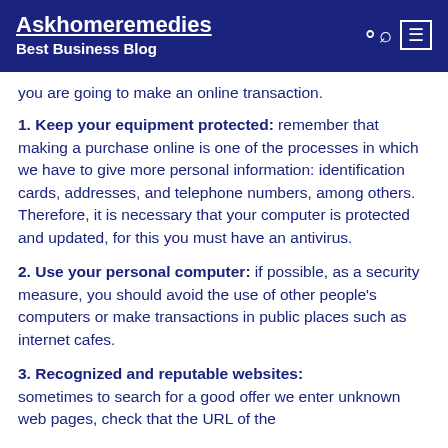Askhomeremedies
Best Business Blog
you are going to make an online transaction.
1. Keep your equipment protected: remember that making a purchase online is one of the processes in which we have to give more personal information: identification cards, addresses, and telephone numbers, among others. Therefore, it is necessary that your computer is protected and updated, for this you must have an antivirus.
2. Use your personal computer: if possible, as a security measure, you should avoid the use of other people's computers or make transactions in public places such as internet cafes.
3. Recognized and reputable websites: sometimes to search for a good offer we enter unknown web pages, check that the URL of the